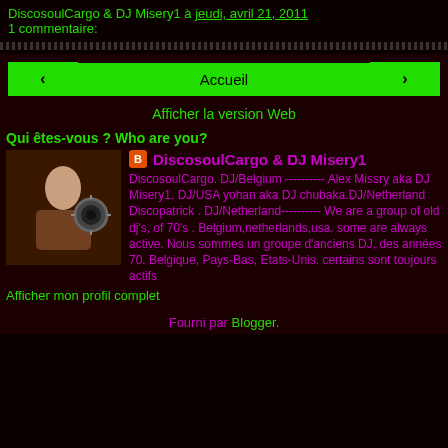DiscosoulCargo & DJ Misery1 à jeudi, avril 21, 2011
1 commentaire:
[Figure (other): Navigation bar with back arrow, Accueil button, forward arrow, and Afficher la version Web link]
Qui êtes-vous ? Who are you?
DiscosoulCargo & DJ Misery1 — DiscosoulCargo. DJ/Belgium ---------- Alex Missry aka DJ Misery1. DJ/USA yohan aka DJ chubaka.DJ/Netherland Discopatrick . DJ/Netherland---------- We are a group of old dj's, of 70's . Belgium,netherlands,usa. some are always active. Nous sommes un groupe d'anciens DJ, des années 70. Belgique, Pays-Bas, Etats-Unis. certains sont toujours actifs
Afficher mon profil complet
Fourni par Blogger.